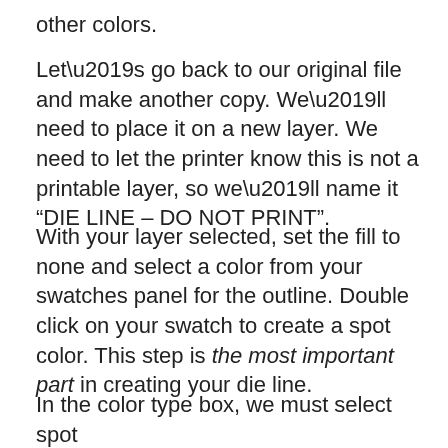other colors.
Let’s go back to our original file and make another copy. We’ll need to place it on a new layer. We need to let the printer know this is not a printable layer, so we’ll name it “DIE LINE – DO NOT PRINT”.
With your layer selected, set the fill to none and select a color from your swatches panel for the outline. Double click on your swatch to create a spot color. This step is the most important part in creating your die line.
In the color type box, we must select spot color. The outline is important because